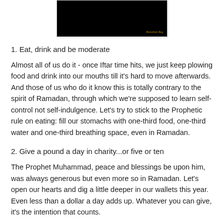[Figure (photo): Dark/black image with a small watermark text in the bottom right corner]
1. Eat, drink and be moderate
Almost all of us do it - once Iftar time hits, we just keep plowing food and drink into our mouths till it's hard to move afterwards. And those of us who do it know this is totally contrary to the spirit of Ramadan, through which we're supposed to learn self-control not self-indulgence. Let's try to stick to the Prophetic rule on eating: fill our stomachs with one-third food, one-third water and one-third breathing space, even in Ramadan.
2. Give a pound a day in charity...or five or ten
The Prophet Muhammad, peace and blessings be upon him, was always generous but even more so in Ramadan. Let's open our hearts and dig a little deeper in our wallets this year. Even less than a dollar a day adds up. Whatever you can give, it's the intention that counts.
3. Memorize 4 new Surahs